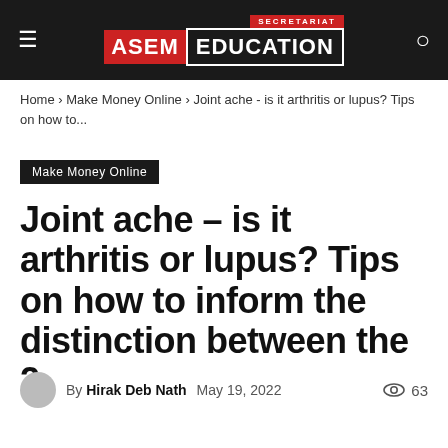SECRETARIAT ASEM EDUCATION
Home › Make Money Online › Joint ache - is it arthritis or lupus? Tips on how to...
Make Money Online
Joint ache – is it arthritis or lupus? Tips on how to inform the distinction between the 2
By Hirak Deb Nath   May 19, 2022   63